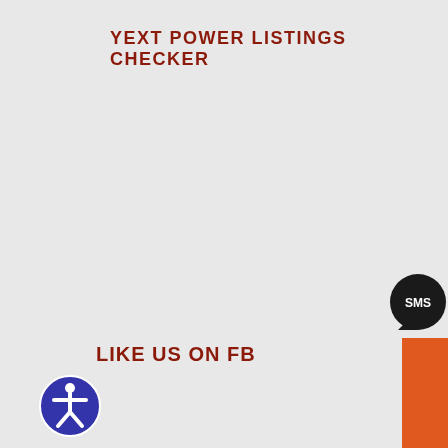YEXT POWER LISTINGS CHECKER
Click for Free
Scan!
[Figure (infographic): SMS text button widget on right side: dark circle with SMS text and orange vertical bar with TEXT label]
[Figure (infographic): Gray scroll-to-top button with upward arrow chevron]
LIKE US ON FB
[Figure (infographic): Accessibility icon - blue circle with white figure person symbol]